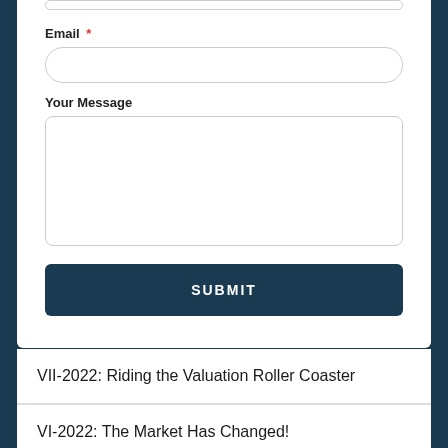Email *
Your Message
SUBMIT
MARKET MONITOR
VII-2022: Riding the Valuation Roller Coaster
VI-2022: The Market Has Changed!